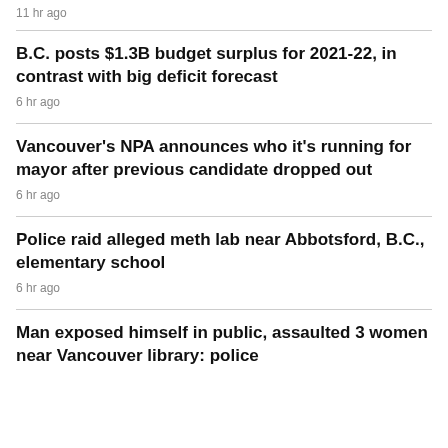11 hr ago
B.C. posts $1.3B budget surplus for 2021-22, in contrast with big deficit forecast
6 hr ago
Vancouver's NPA announces who it's running for mayor after previous candidate dropped out
6 hr ago
Police raid alleged meth lab near Abbotsford, B.C., elementary school
6 hr ago
Man exposed himself in public, assaulted 3 women near Vancouver library: police